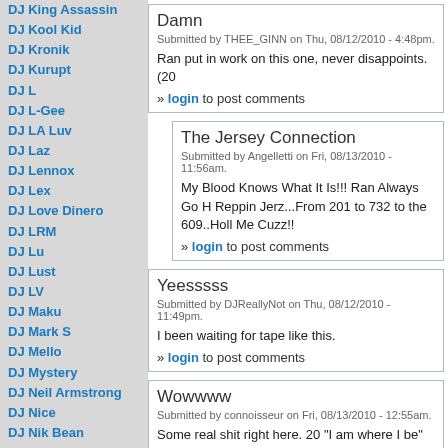DJ King Assassin
DJ Kool Kid
DJ Kronik
DJ Kurupt
DJ L
DJ L-Gee
DJ LA Luv
DJ Laz
DJ Lennox
DJ Lex
DJ Love Dinero
DJ LRM
DJ Lu
DJ Lust
DJ LV
DJ Maku
DJ Mark S
DJ Mello
DJ Mystery
DJ Neil Armstrong
DJ Nice
DJ Nik Bean
DJ Noize
DJ Noodles
DJ Obscene
DJ On Point
DJ Papa Smurf
DJ P Exclusivez
DJ Pimp
DJ Premier
DJ Purfiya
DJ Quess
DJ Quote
Damn
Submitted by THEE_GINN on Thu, 08/12/2010 - 4:48pm.
Ran put in work on this one, never disappoints. (20
» login to post comments
The Jersey Connection
Submitted by Angelletti on Fri, 08/13/2010 - 11:56am.
My Blood Knows What It Is!!! Ran Always Go H Reppin Jerz...From 201 to 732 to the 609..Holl Me Cuzz!!
» login to post comments
Yeesssss
Submitted by DJReallyNot on Thu, 08/12/2010 - 11:49pm.
I been waiting for tape like this.
» login to post comments
Wowwww
Submitted by connoisseur on Fri, 08/13/2010 - 12:55am.
Some real shit right here. 20 "I am where I be" bum
» login to post comments